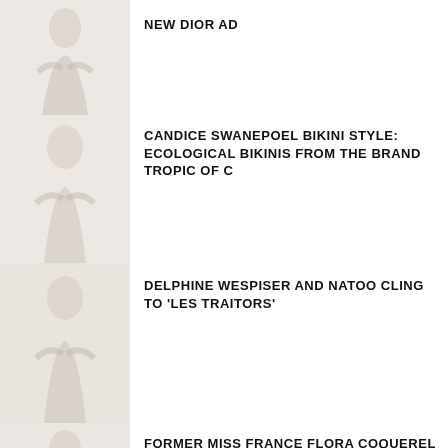NEW DIOR AD
CANDICE SWANEPOEL BIKINI STYLE: ECOLOGICAL BIKINIS FROM THE BRAND TROPIC OF C
DELPHINE WESPISER AND NATOO CLING TO 'LES TRAITORS'
FORMER MISS FRANCE FLORA COQUEREL VISITED THE MOSQUE
FORMER MISS FRANCE MARINE LORPHELIN ACCUSED OF TRIVIALIZING